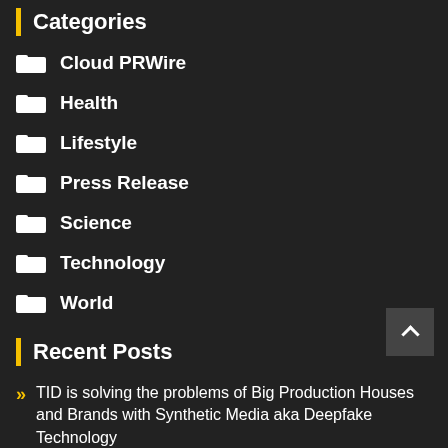Categories
Cloud PRWire
Health
Lifestyle
Press Release
Science
Technology
World
Recent Posts
TID is solving the problems of Big Production Houses and Brands with Synthetic Media aka Deepfake Technology
Sunshine Coast Business Broker | Property Maintenance Sale Notification Released